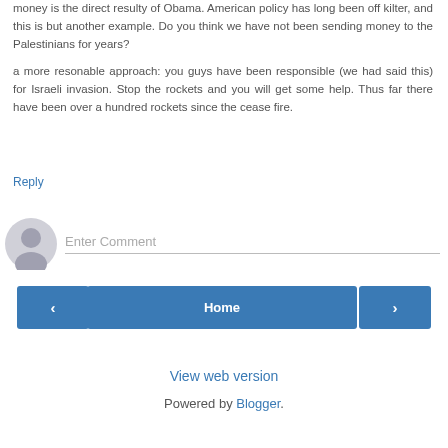money is the direct resulty of Obama. American policy has long been off kilter, and this is but another example. Do you think we have not been sending money to the Palestinians for years?
a more resonable approach: you guys have been responsible (we had said this) for Israeli invasion. Stop the rockets and you will get some help. Thus far there have been over a hundred rockets since the cease fire.
Reply
[Figure (other): User avatar icon (grey silhouette person placeholder)]
Enter Comment
[Figure (other): Previous page navigation button with left arrow chevron, blue background]
Home
[Figure (other): Next page navigation button with right arrow chevron, blue background]
View web version
Powered by Blogger.